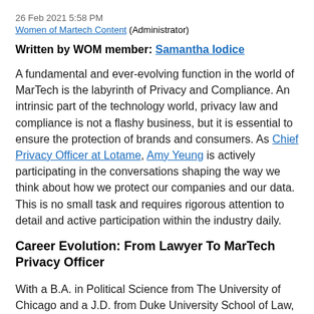26 Feb 2021 5:58 PM
Women of Martech Content (Administrator)
Written by WOM member: Samantha Iodice
A fundamental and ever-evolving function in the world of MarTech is the labyrinth of Privacy and Compliance. An intrinsic part of the technology world, privacy law and compliance is not a flashy business, but it is essential to ensure the protection of brands and consumers. As Chief Privacy Officer at Lotame, Amy Yeung is actively participating in the conversations shaping the way we think about how we protect our companies and our data. This is no small task and requires rigorous attention to detail and active participation within the industry daily.
Career Evolution: From Lawyer To MarTech Privacy Officer
With a B.A. in Political Science from The University of Chicago and a J.D. from Duke University School of Law, Amy